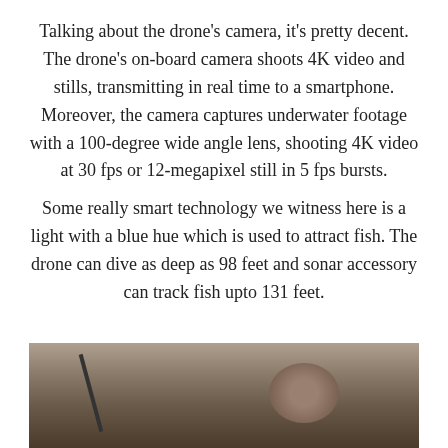Talking about the drone's camera, it's pretty decent. The drone's on-board camera shoots 4K video and stills, transmitting in real time to a smartphone. Moreover, the camera captures underwater footage with a 100-degree wide angle lens, shooting 4K video at 30 fps or 12-megapixel still in 5 fps bursts.
Some really smart technology we witness here is a light with a blue hue which is used to attract fish. The drone can dive as deep as 98 feet and sonar accessory can track fish upto 131 feet.
[Figure (photo): A partially visible photo at the bottom of the page showing what appears to be a person or people outdoors, cropped at the bottom edge.]